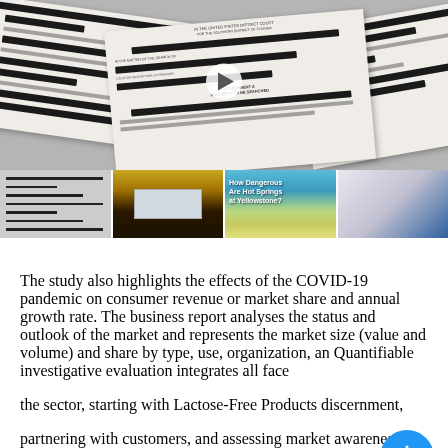[Figure (photo): Stack of redacted government documents with black bars covering text, photographed from above. A play button overlay is visible in the center.]
[Figure (photo): Four thumbnail images in a row: (1) redacted documents close-up, (2) a meeting room or hearing chamber with a projection screen, (3) 'How Dangerous Are Hot Springs at Yellowstone?' video thumbnail with nature imagery, (4) a speaker at a podium with audience.]
The study also highlights the effects of the COVID-19 pandemic on consumer revenue or market share and annual growth rate. The business report analyses the status and outlook of the market and represents the market size (value and volume) and share by type, use, organization, an Quantifiable investigative evaluation integrates all face the sector, starting with Lactose-Free Products discernment, partnering with customers, and assessing market awareness.